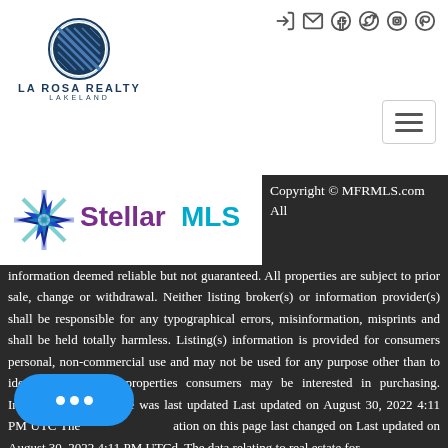[Figure (logo): La Rosa Realty Lakeland logo with circular emblem and text]
[Figure (logo): Social media icons: login, email, facebook, twitter, instagram, pinterest]
[Figure (other): Hamburger menu button]
[Figure (logo): Stellar MLS logo with star/snowflake icon, purple Stellar text, blue MLS text]
Copyright © MFRMLS.com All information deemed reliable but not guaranteed. All properties are subject to prior sale, change or withdrawal. Neither listing broker(s) or information provider(s) shall be responsible for any typographical errors, misinformation, misprints and shall be held totally harmless. Listing(s) information is provided for consumers personal, non-commercial use and may not be used for any purpose other than to identify prospective properties consumers may be interested in purchasing. Information on this site was last updated Last updated on August 30, 2022 4:11 PM UTC The information on this page last changed on Last updated on August 30, 2022 4:11 PM UTCd. The data relating to real estate for sale on this web site comes from Internet Data Exchange